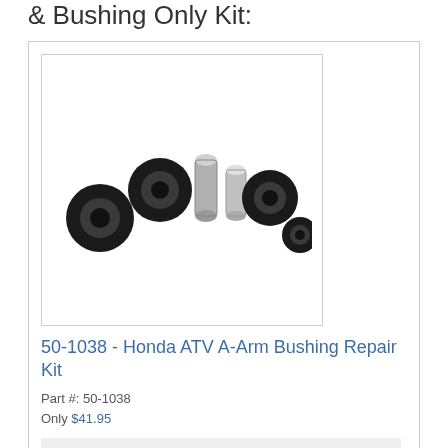& Bushing Only Kit:
[Figure (photo): Photo of Honda ATV A-Arm Bushing Repair Kit parts — several black rubber bushings and two silver metal cylindrical sleeves arranged in a curved row]
50-1038 - Honda ATV A-Arm Bushing Repair Kit
Part #: 50-1038
Only $41.95
Add to Cart
Front Upper A-Arm Bearing & Seal Kit & Bushing Only Kit: